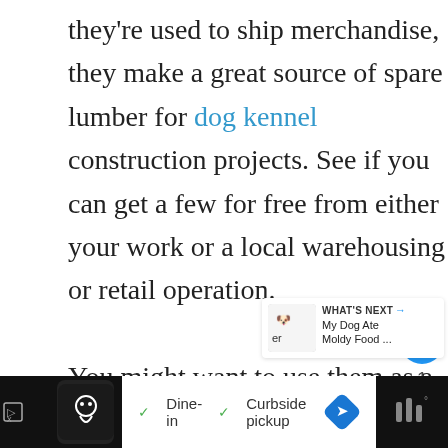they're used to ship merchandise, they make a great source of spare lumber for dog kennel construction projects. See if you can get a few for free from either your work or a local warehousing or retail operation.
You might want to use them as a front gate in the way that the pros from pallet.tv did:
[Figure (screenshot): Social action buttons: heart/like button (blue circle), count of 1, and share button]
[Figure (screenshot): What's Next widget showing dog icon and text 'My Dog Ate Moldy Food ...']
[Figure (screenshot): Advertisement bar at bottom with restaurant logo, Dine-in and Curbside pickup checkmarks, navigation arrow, and dark right panel]